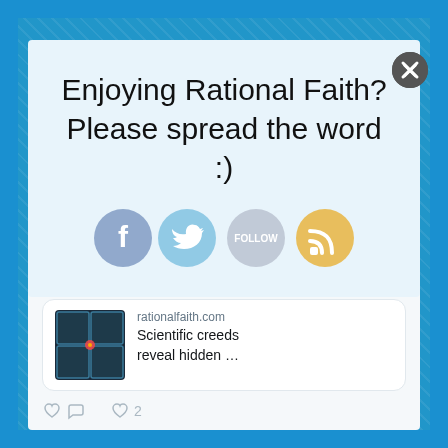[Figure (infographic): Popup overlay card with light blue background showing social sharing prompt with Facebook, Twitter, Follow, and RSS icons]
Enjoying Rational Faith? Please spread the word :)
[Figure (screenshot): Tweet card showing thumbnail image of a dark grid graphic, with site name rationalfaith.com and headline 'Scientific creeds reveal hidden ...' with reply and like (2) action icons]
rationalfaith.com
Scientific creeds reveal hidden …
[Figure (screenshot): Second tweet from Rational F... (@rational_f...) posted 4h ago with Twitter bird icon, with text 'Will the real mitochondrial Eve please stand up?' and orange RF avatar]
Rational F… @rational_f… · 4h
Will the real mitochondrial Eve please stand up?